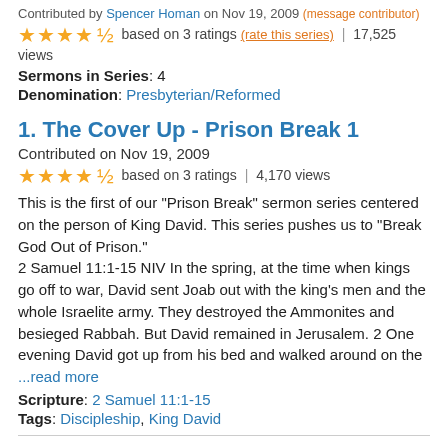Contributed by Spencer Homan on Nov 19, 2009 (message contributor)
★★★★½ based on 3 ratings (rate this series) | 17,525 views
Sermons in Series: 4
Denomination: Presbyterian/Reformed
1. The Cover Up - Prison Break 1
Contributed on Nov 19, 2009
★★★★½ based on 3 ratings | 4,170 views
This is the first of our "Prison Break" sermon series centered on the person of King David. This series pushes us to "Break God Out of Prison."
2 Samuel 11:1-15 NIV In the spring, at the time when kings go off to war, David sent Joab out with the king's men and the whole Israelite army. They destroyed the Ammonites and besieged Rabbah. But David remained in Jerusalem. 2 One evening David got up from his bed and walked around on the ...read more
Scripture: 2 Samuel 11:1-15
Tags: Discipleship, King David
2. Convicted - Prison Break 2
Contributed on Nov 19, 2009